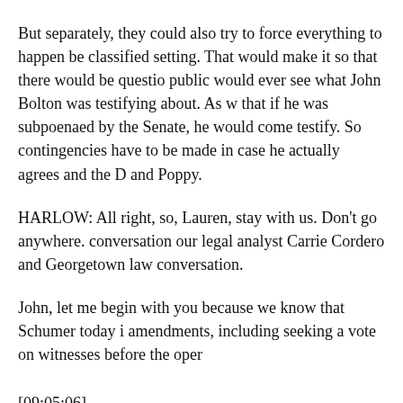But separately, they could also try to force everything to happen be classified setting. That would make it so that there would be questio public would ever see what John Bolton was testifying about. As w that if he was subpoenaed by the Senate, he would come testify. So contingencies have to be made in case he actually agrees and the D and Poppy.
HARLOW: All right, so, Lauren, stay with us. Don't go anywhere. conversation our legal analyst Carrie Cordero and Georgetown law conversation.
John, let me begin with you because we know that Schumer today i amendments, including seeking a vote on witnesses before the oper
[09:05:06]